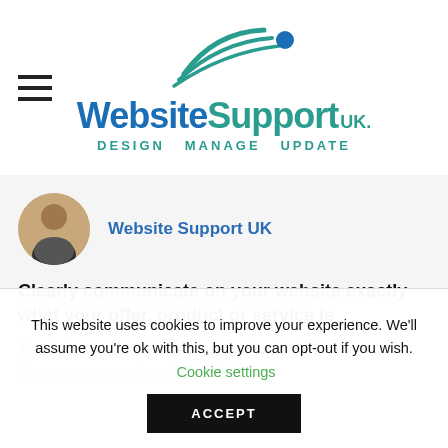[Figure (logo): Website Support UK logo with swoosh graphic, tagline DESIGN MANAGE UPDATE]
[Figure (photo): Circular profile photo of a woman]
Website Support UK
Clearly communicate on your website exactly what your offer, product or service is
#websitesupportuk #webdesign #webbuild #contentcreator #socialmedia
This website uses cookies to improve your experience. We'll assume you're ok with this, but you can opt-out if you wish. Cookie settings
ACCEPT